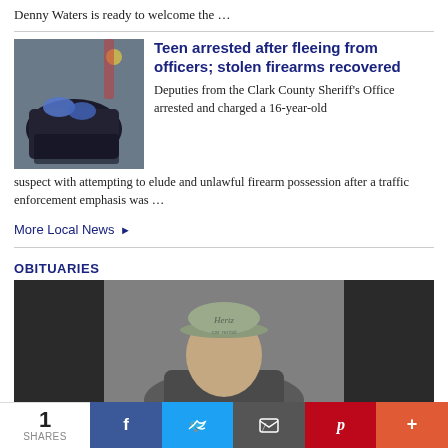Denny Waters is ready to welcome the …
Teen arrested after fleeing from officers; stolen firearms recovered
[Figure (photo): Photo of items on a car floor mat, including what appears to be blue gloves and a dark bag]
Deputies from the Clark County Sheriff's Office arrested and charged a 16-year-old suspect with attempting to elude and unlawful firearm possession after a traffic enforcement emphasis was …
More Local News ▶
OBITUARIES
[Figure (photo): Photo of a person wearing a Hertz car rental cap, shown from roughly shoulder-up against a gray background]
1 SHARES | Facebook | Twitter | Email | Pinterest | More